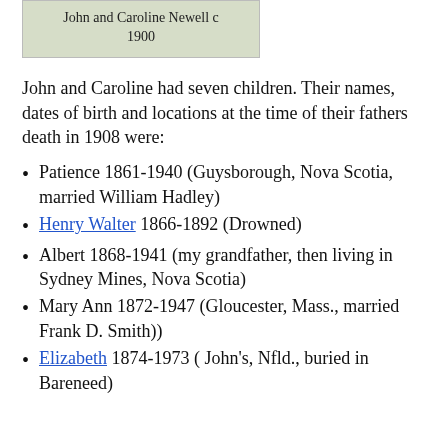John and Caroline Newell c 1900
John and Caroline had seven children. Their names, dates of birth and locations at the time of their fathers death in 1908 were:
Patience 1861-1940 (Guysborough, Nova Scotia, married William Hadley)
Henry Walter 1866-1892 (Drowned)
Albert 1868-1941 (my grandfather, then living in Sydney Mines, Nova Scotia)
Mary Ann 1872-1947 (Gloucester, Mass., married Frank D. Smith))
Elizabeth 1874-1973 ( John's, Nfld., buried in Bareneed)